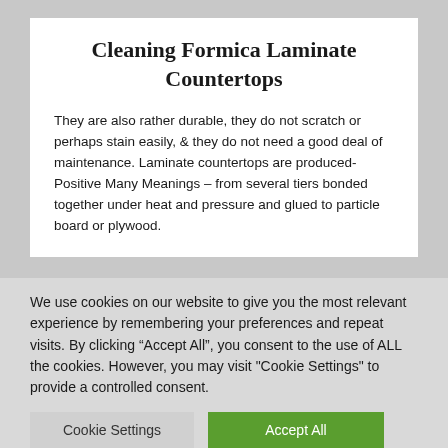Cleaning Formica Laminate Countertops
They are also rather durable, they do not scratch or perhaps stain easily, & they do not need a good deal of maintenance. Laminate countertops are produced- Positive Many Meanings – from several tiers bonded together under heat and pressure and glued to particle board or plywood.
We use cookies on our website to give you the most relevant experience by remembering your preferences and repeat visits. By clicking “Accept All”, you consent to the use of ALL the cookies. However, you may visit "Cookie Settings" to provide a controlled consent.
Cookie Settings | Accept All